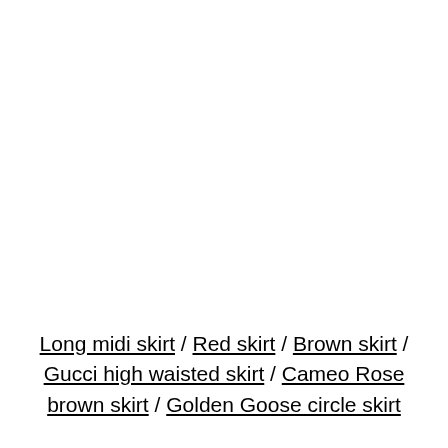Long midi skirt / Red skirt / Brown skirt / Gucci high waisted skirt / Cameo Rose brown skirt / Golden Goose circle skirt